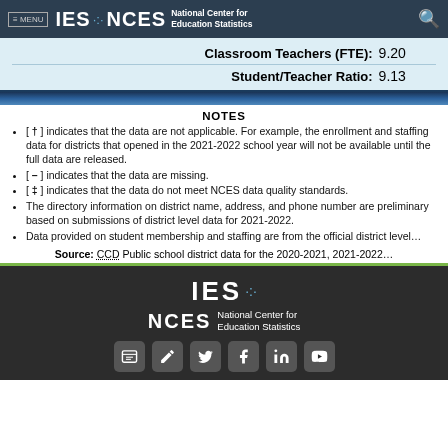≡ MENU  IES · NCES National Center for Education Statistics
| Classroom Teachers (FTE): | 9.20 |
| Student/Teacher Ratio: | 9.13 |
NOTES
[ † ] indicates that the data are not applicable. For example, the enrollment and staffing data for districts that opened in the 2021-2022 school year will not be available until the full data are released.
[ – ] indicates that the data are missing.
[ ‡ ] indicates that the data do not meet NCES data quality standards.
The directory information on district name, address, and phone number are preliminary based on submissions of district level data for 2021-2022.
Data provided on student membership and staffing are from the official district level...
Source: CCD Public school district data for the 2020-2021, 2021-2022...
[Figure (logo): IES NCES footer logo with social media icons]
IES · NCES National Center for Education Statistics — social media icons: newsletter, edit, Twitter, Facebook, LinkedIn, YouTube